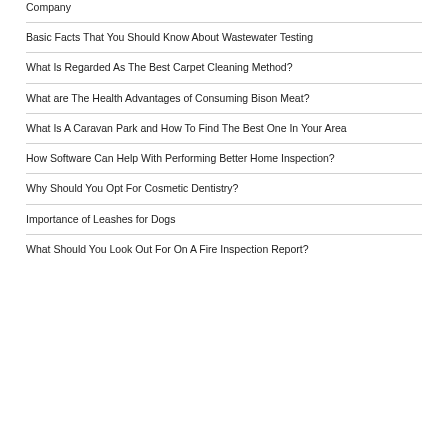Company
Basic Facts That You Should Know About Wastewater Testing
What Is Regarded As The Best Carpet Cleaning Method?
What are The Health Advantages of Consuming Bison Meat?
What Is A Caravan Park and How To Find The Best One In Your Area
How Software Can Help With Performing Better Home Inspection?
Why Should You Opt For Cosmetic Dentistry?
Importance of Leashes for Dogs
What Should You Look Out For On A Fire Inspection Report?